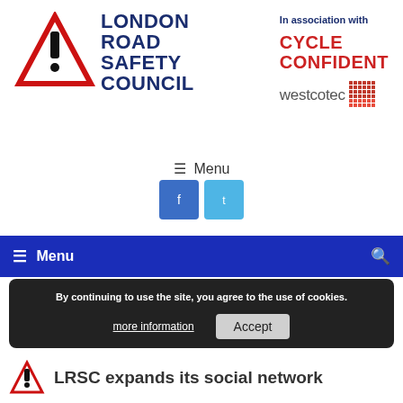[Figure (logo): London Road Safety Council logo with red triangle warning sign and blue text]
In association with
[Figure (logo): Cycle Confident logo in red text]
[Figure (logo): Westcotec logo with dot-matrix style graphic]
☰  Menu
[Figure (logo): Facebook and Twitter social media icon buttons]
[Figure (screenshot): Blue navigation bar with hamburger Menu label and search icon]
Ne
By continuing to use the site, you agree to the use of cookies.
more information
Accept
LRSC expands its social network